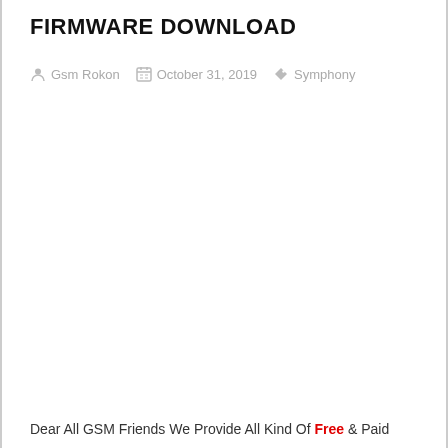FIRMWARE DOWNLOAD
Gsm Rokon   October 31, 2019   Symphony
Dear All GSM Friends We Provide All Kind Of Free & Paid